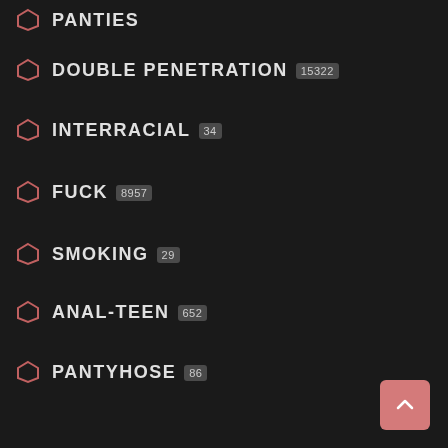PANTIES
DOUBLE PENETRATION 15322
INTERRACIAL 34
FUCK 8957
SMOKING 29
ANAL-TEEN 652
PANTYHOSE 86
OUTDOOR 552
PORNSTAR 808
DEEPTHROAT 961